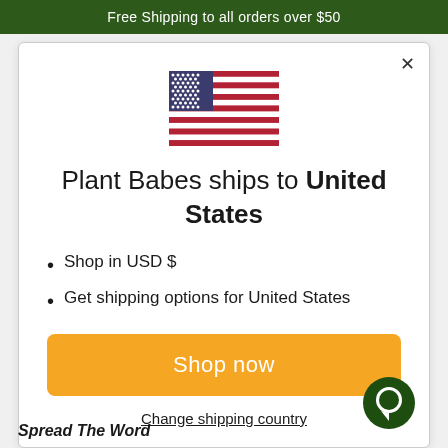Free Shipping to all orders over $50
[Figure (illustration): US flag SVG illustration]
Plant Babes ships to United States
Shop in USD $
Get shipping options for United States
Shop now
Change shipping country
Spread The Word